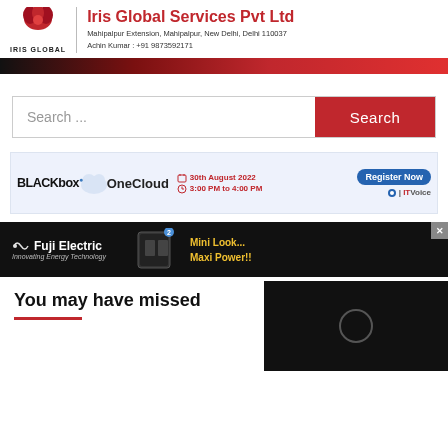[Figure (logo): Iris Global logo with red bird icon on left and company name and address on right]
[Figure (infographic): Red gradient horizontal bar divider]
Search ...
[Figure (infographic): BLACKbox OneCloud event banner: 30th August 2022, 3:00 PM to 4:00 PM, Register Now, ITVoice]
[Figure (infographic): Fuji Electric ad: Innovating Energy Technology, Mini Look... Maxi Power!!]
You may have missed